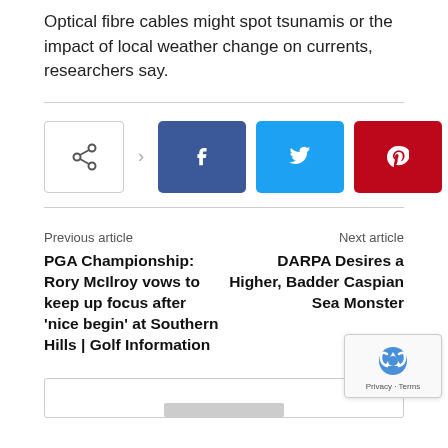Optical fibre cables might spot tsunamis or the impact of local weather change on currents, researchers say.
[Figure (infographic): Social share buttons: share icon box with arrow, then Facebook (blue), Twitter (cyan), Pinterest (red), WhatsApp (green) icon buttons]
Previous article
PGA Championship: Rory McIlroy vows to keep up focus after 'nice begin' at Southern Hills | Golf Information
Next article
DARPA Desires a Higher, Badder Caspian Sea Monster
[Figure (other): reCAPTCHA badge with robot icon and Privacy - Terms text]